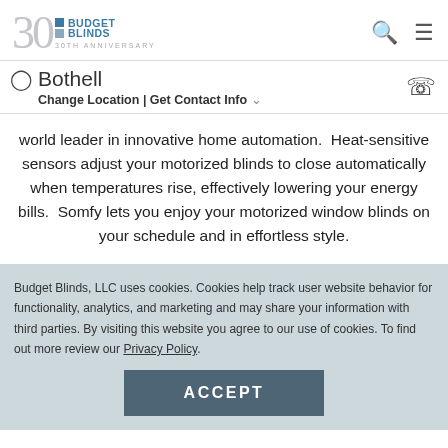Budget Blinds — 30th Anniversary | Bothell | Change Location | Get Contact Info
world leader in innovative home automation.  Heat-sensitive sensors adjust your motorized blinds to close automatically when temperatures rise, effectively lowering your energy bills.  Somfy lets you enjoy your motorized window blinds on your schedule and in effortless style.
Budget Blinds, LLC uses cookies. Cookies help track user website behavior for functionality, analytics, and marketing and may share your information with third parties. By visiting this website you agree to our use of cookies. To find out more review our Privacy Policy.